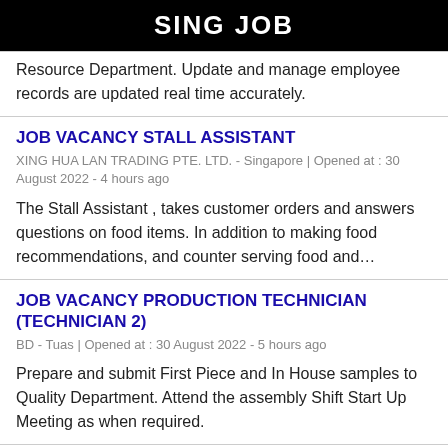SING JOB
Resource Department. Update and manage employee records are updated real time accurately.
JOB VACANCY STALL ASSISTANT
XING HUA LAN TRADING PTE. LTD. - Singapore | Opened at : 30 August 2022 - 4 hours ago
The Stall Assistant , takes customer orders and answers questions on food items. In addition to making food recommendations, and counter serving food and…
JOB VACANCY PRODUCTION TECHNICIAN (TECHNICIAN 2)
BD - Tuas | Opened at : 30 August 2022 - 5 hours ago
Prepare and submit First Piece and In House samples to Quality Department. Attend the assembly Shift Start Up Meeting as when required.